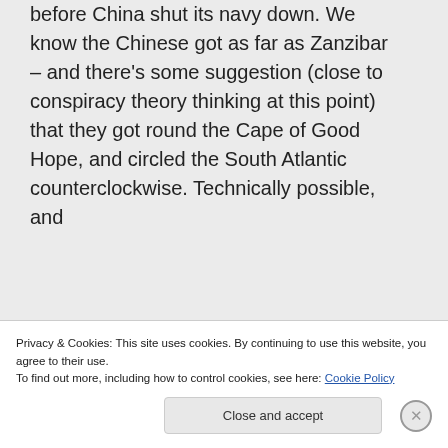before China shut its navy down. We know the Chinese got as far as Zanzibar – and there's some suggestion (close to conspiracy theory thinking at this point) that they got round the Cape of Good Hope, and circled the South Atlantic counterclockwise. Technically possible, and
Privacy & Cookies: This site uses cookies. By continuing to use this website, you agree to their use.
To find out more, including how to control cookies, see here: Cookie Policy